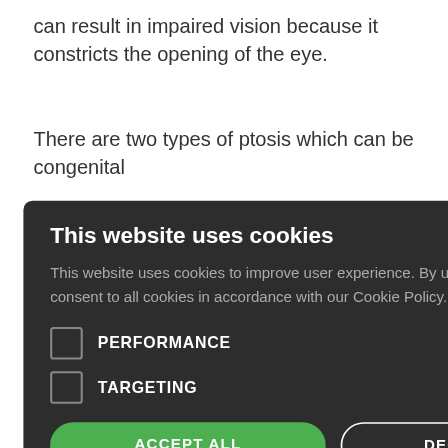can result in impaired vision because it constricts the opening of the eye.
There are two types of ptosis which can be congenital ...congenital ...here are cases ...er than ...adults that
[Figure (screenshot): Cookie consent modal dialog on a dark background. Title: 'This website uses cookies'. Body text: 'This website uses cookies to improve user experience. By using our website you consent to all cookies in accordance with our Cookie Policy. Read more'. Two checkboxes: PERFORMANCE and TARGETING. Two buttons: ACCEPT ALL (green) and DECLINE ALL (outlined). SHOW DETAILS link with gear icon. X close button in top right.]
...lot of people ...treated. ...t to improve
The treatment if you have droopy eyelids is surgery but